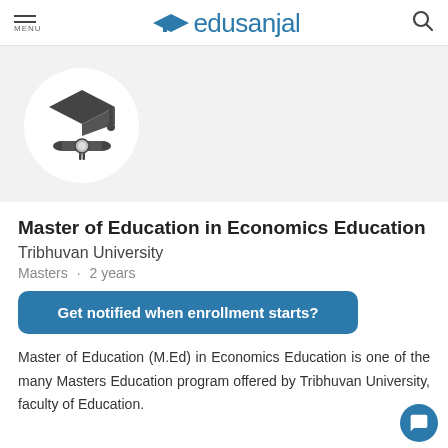MENU | edusanjal
[Figure (logo): Graduation cap and diploma scroll icon inside a white circle on gray background]
Master of Education in Economics Education
Tribhuvan University
Masters · 2 years
Get notified when enrollment starts?
Master of Education (M.Ed) in Economics Education is one of the many Masters Education program offered by Tribhuvan University, faculty of Education.